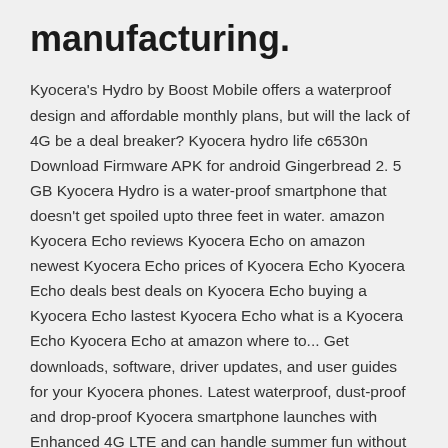manufacturing.
Kyocera's Hydro by Boost Mobile offers a waterproof design and affordable monthly plans, but will the lack of 4G be a deal breaker? Kyocera hydro life c6530n Download Firmware APK for android Gingerbread 2. 5 GB Kyocera Hydro is a water-proof smartphone that doesn't get spoiled upto three feet in water. amazon Kyocera Echo reviews Kyocera Echo on amazon newest Kyocera Echo prices of Kyocera Echo Kyocera Echo deals best deals on Kyocera Echo buying a Kyocera Echo lastest Kyocera Echo what is a Kyocera Echo Kyocera Echo at amazon where to... Get downloads, software, driver updates, and user guides for your Kyocera phones. Latest waterproof, dust-proof and drop-proof Kyocera smartphone launches with Enhanced 4G LTE and can handle summer fun without a contract Download Open Source Files to assist your development for Kyocera Phones.